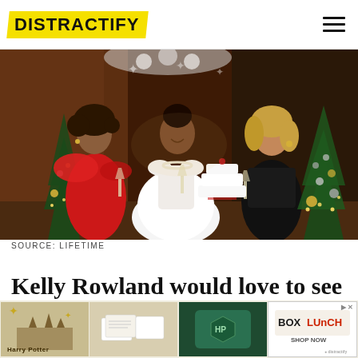DISTRACTIFY
[Figure (photo): Three women at a Christmas wedding party scene; one in a red dress, one in a white wedding gown, one in a black dress holding champagne glasses near a white wedding cake and Christmas trees decorated with ornaments and lights.]
SOURCE: LIFETIME
Kelly Rowland would love to see a fourt...ddle Chri...